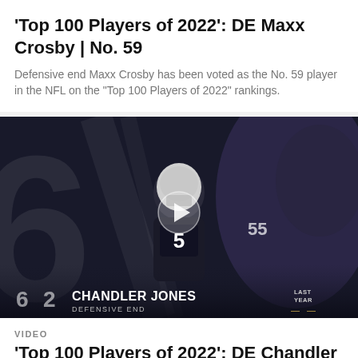'Top 100 Players of 2022': DE Maxx Crosby | No. 59
Defensive end Maxx Crosby has been voted as the No. 59 player in the NFL on the "Top 100 Players of 2022" rankings.
[Figure (screenshot): Video thumbnail showing a football player in black uniform with number 5x, dark dramatic background with large number 6, bottom overlay shows '6 2 CHANDLER JONES DEFENSIVE END' and 'LAST YEAR' label with dashes. Play button visible in center.]
VIDEO
'Top 100 Players of 2022': DE Chandler Jones | No. 62